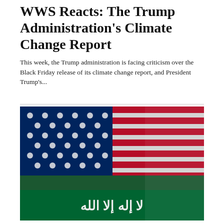WWS Reacts: The Trump Administration's Climate Change Report
This week, the Trump administration is facing criticism over the Black Friday release of its climate change report, and President Trump's...
[Figure (photo): Overlapping US flag (stars and stripes, navy blue canton with white stars, red and white stripes) and Saudi Arabian flag (green with white Arabic script) draped together.]